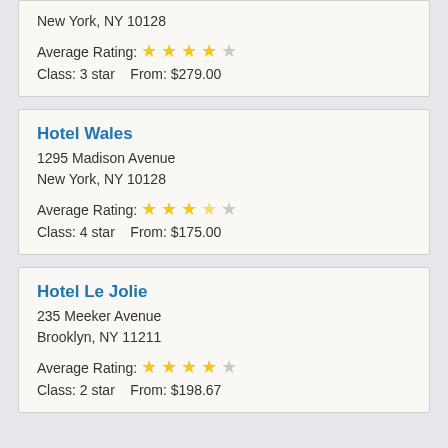New York, NY 10128
Average Rating: 4 stars
Class: 3 star   From: $279.00
Hotel Wales
1295 Madison Avenue
New York, NY 10128
Average Rating: 3.5 stars
Class: 4 star   From: $175.00
Hotel Le Jolie
235 Meeker Avenue
Brooklyn, NY 11211
Average Rating: 4 stars
Class: 2 star   From: $198.67